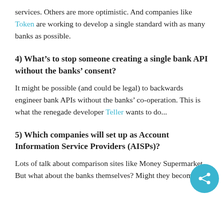services. Others are more optimistic. And companies like Token are working to develop a single standard with as many banks as possible.
4) What's to stop someone creating a single bank API without the banks' consent?
It might be possible (and could be legal) to backwards engineer bank APIs without the banks' co-operation. This is what the renegade developer Teller wants to do...
5) Which companies will set up as Account Information Service Providers (AISPs)?
Lots of talk about comparison sites like Money Supermarket. But what about the banks themselves? Might they become...